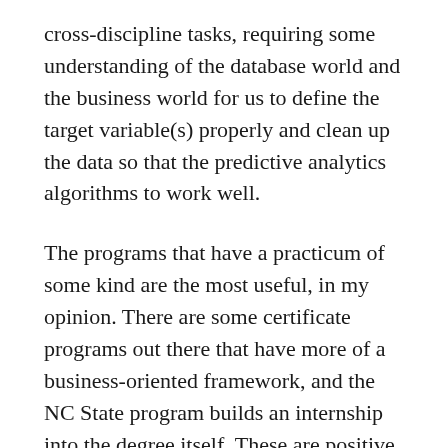cross-discipline tasks, requiring some understanding of the database world and the business world for us to define the target variable(s) properly and clean up the data so that the predictive analytics algorithms to work well.
The programs that have a practicum of some kind are the most useful, in my opinion. There are some certificate programs out there that have more of a business-oriented framework, and the NC State program builds an internship into the degree itself. These are positive steps in the field that I’m sure will continue as predictive analytics graduates become more in demand.